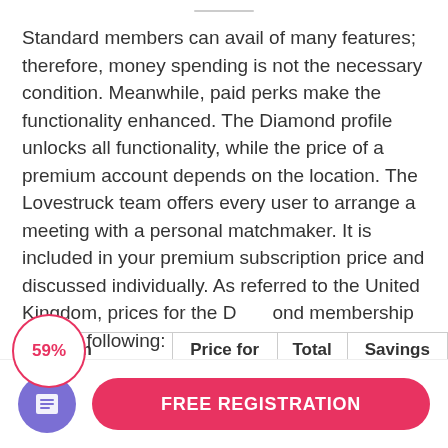Standard members can avail of many features; therefore, money spending is not the necessary condition. Meanwhile, paid perks make the functionality enhanced. The Diamond profile unlocks all functionality, while the price of a premium account depends on the location. The Lovestruck team offers every user to arrange a meeting with a personal matchmaker. It is included in your premium subscription price and discussed individually. As referred to the United Kingdom, prices for the Diamond membership are the following:
| Premium Subscription | Price for One | Total | Savings |
| --- | --- | --- | --- |
59%
FREE REGISTRATION